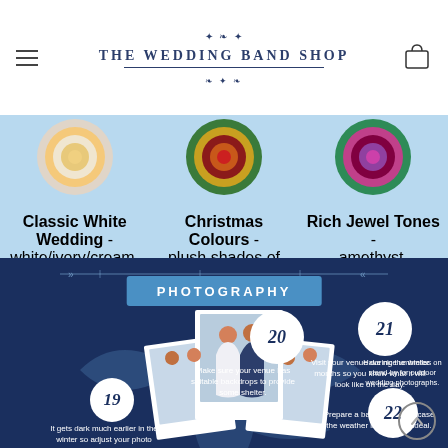THE WEDDING BAND SHOP
[Figure (infographic): Wedding color palette infographic showing three circular concentric ring designs: Classic White Wedding (white/ivory/cream, pale pastels, silver accents), Christmas Colours (plush shades of red, dark green, gold accents), Rich Jewel Tones (amethyst, burgundy, cerise, emerald)]
[Figure (infographic): Photography section of wedding tips infographic with dark navy background. Shows numbered tips 19-22 with white circles on arrow/petal shapes: 19 - It gets dark much earlier in the winter so adjust your photo schedule for more light. 20 - Make sure your venue has suitable backdrops to provide some shelter. 21 - Visit your venue during the winter months so you know what it will look like on the day. 22 - Have nice umbrellas on stand-by for outdoor wedding photographs. Also shows tip starting: Prepare a back-up plan in case the weather is less than ideal. Center shows wedding couple photos.]